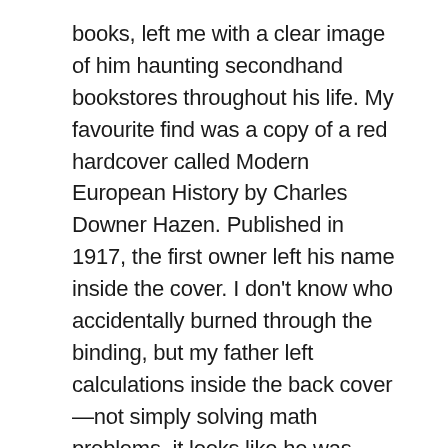books, left me with a clear image of him haunting secondhand bookstores throughout his life. My favourite find was a copy of a red hardcover called Modern European History by Charles Downer Hazen. Published in 1917, the first owner left his name inside the cover. I don't know who accidentally burned through the binding, but my father left calculations inside the back cover—not simply solving math problems, it looks like he was tracking the number of pages he was reading.
My father had a thing for numbers, he tracked the temperature and the stock market figures every day right through to the end—not so much out of an interest in the markets as far as I know—but as a little bit of mental exercise. He was afraid of